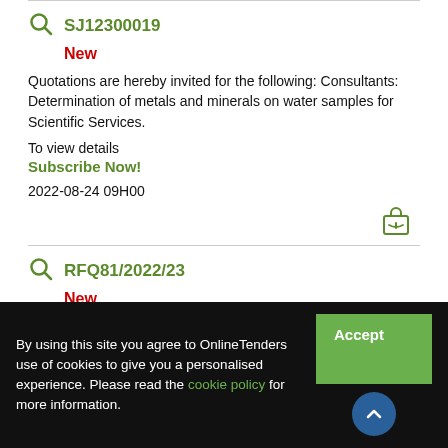SJ12300019
New
Quotations are hereby invited for the following: Consultants: Determination of metals and minerals on water samples for Scientific Services.
To view details
Subscribe Now!
2022-08-24 09H00
RFQ81/2022/23
New
By using this site you agree to OnlineTenders use of cookies to give you a personalised experience. Please read the cookie policy for more information.